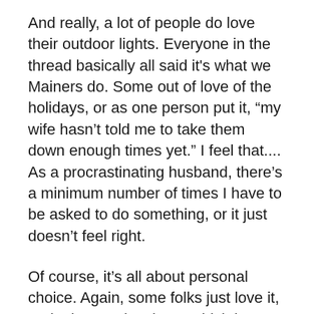And really, a lot of people do love their outdoor lights. Everyone in the thread basically all said it's what we Mainers do. Some out of love of the holidays, or as one person put it, “my wife hasn’t told me to take them down enough times yet.” I feel that.... As a procrastinating husband, there’s a minimum number of times I have to be asked to do something, or it just doesn’t feel right.
Of course, it’s all about personal choice. Again, some folks just love it, and other are just lazy. Which is pretty much the meaning of life, right? One person’s weird is another person’s awesome. I say embrace the weird. It makes life way more fun. And then people ask on Reddit why you’re so crazy. It